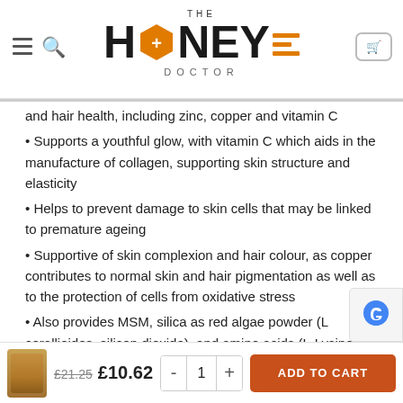THE HONEY DOCTOR
and hair health, including zinc, copper and vitamin C
Supports a youthful glow, with vitamin C which aids in the manufacture of collagen, supporting skin structure and elasticity
Helps to prevent damage to skin cells that may be linked to premature ageing
Supportive of skin complexion and hair colour, as copper contributes to normal skin and hair pigmentation as well as to the protection of cells from oxidative stress
Also provides MSM, silica as red algae powder (L corallioides, silicon dioxide), and amino acids (L-Lysine and L-Proline)
£21.25  £10.62  -  1  +  ADD TO CART